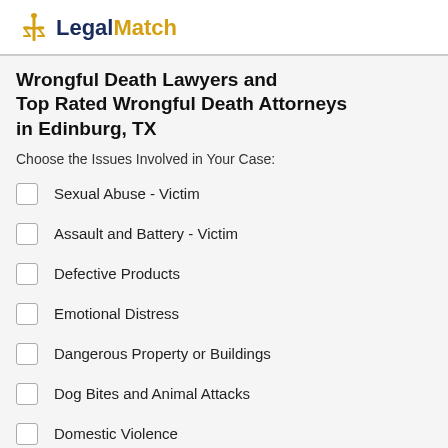LegalMatch
Wrongful Death Lawyers and Top Rated Wrongful Death Attorneys in Edinburg, TX
Choose the Issues Involved in Your Case:
Sexual Abuse - Victim
Assault and Battery - Victim
Defective Products
Emotional Distress
Dangerous Property or Buildings
Dog Bites and Animal Attacks
Domestic Violence
Wrongful Death (checked)